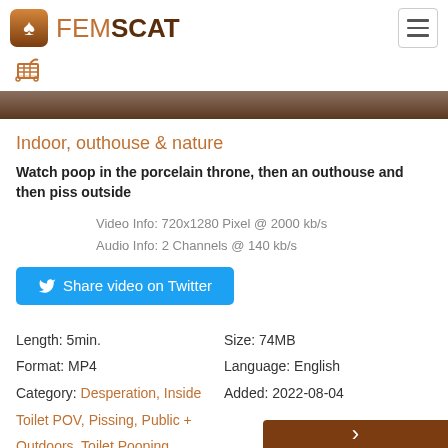FEMSCAT
[Figure (logo): FemScat logo with spade card suit icon in gradient brown rounded square, followed by text FEM in brown and SCAT in dark bold]
[Figure (photo): Partial thumbnail bar showing dark brown blurred background, bottom portion of a video thumbnail]
Indoor, outhouse & nature
Watch poop in the porcelain throne, then an outhouse and then piss outside
Video Info: 720x1280 Pixel @ 2000 kb/s
Audio Info: 2 Channels @ 140 kb/s
Share video on Twitter
Length: 5min.
Format: MP4
Category: Desperation, Inside Toilet POV, Pissing, Public + Outdoors, Toilet Pooping
Size: 74MB
Language: English
Added: 2022-08-04
$5.99